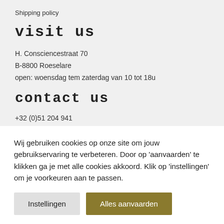Shipping policy
visit us
H. Consciencestraat 70
B-8800 Roeselare
open: woensdag tem zaterdag van 10 tot 18u
contact us
+32 (0)51 204 941
info@cremedelacrema.be
Wij gebruiken cookies op onze site om jouw gebruikservaring te verbeteren. Door op 'aanvaarden' te klikken ga je met alle cookies akkoord. Klik op 'instellingen' om je voorkeuren aan te passen.
Instellingen
Alles aanvaarden